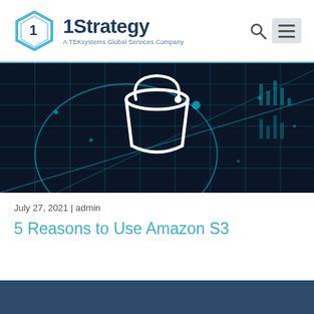1Strategy – A TEKsystems Global Services Company
[Figure (illustration): Dark navy blue digital technology background with glowing cyan grid lines, circular network patterns, and a white AWS S3 bucket icon in the center]
July 27, 2021 | admin
5 Reasons to Use Amazon S3